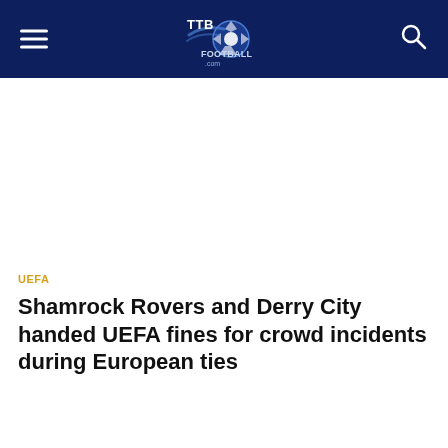TTB Football
UEFA
Shamrock Rovers and Derry City handed UEFA fines for crowd incidents during European ties